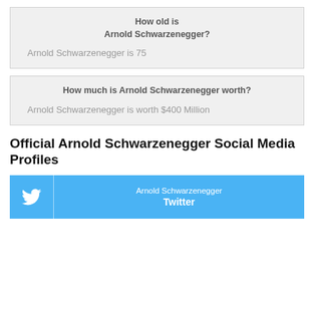How old is Arnold Schwarzenegger?
Arnold Schwarzenegger is 75
How much is Arnold Schwarzenegger worth?
Arnold Schwarzenegger is worth $400 Million
Official Arnold Schwarzenegger Social Media Profiles
Arnold Schwarzenegger Twitter